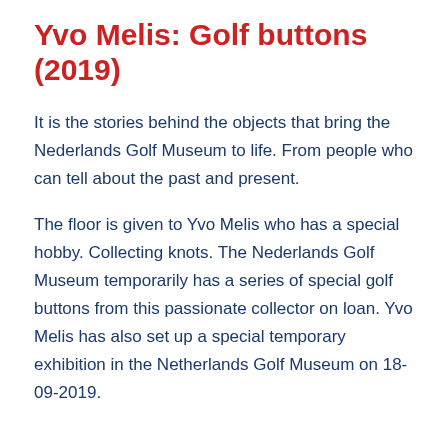Yvo Melis: Golf buttons (2019)
It is the stories behind the objects that bring the Nederlands Golf Museum to life. From people who can tell about the past and present.
The floor is given to Yvo Melis who has a special hobby. Collecting knots. The Nederlands Golf Museum temporarily has a series of special golf buttons from this passionate collector on loan. Yvo Melis has also set up a special temporary exhibition in the Netherlands Golf Museum on 18-09-2019.